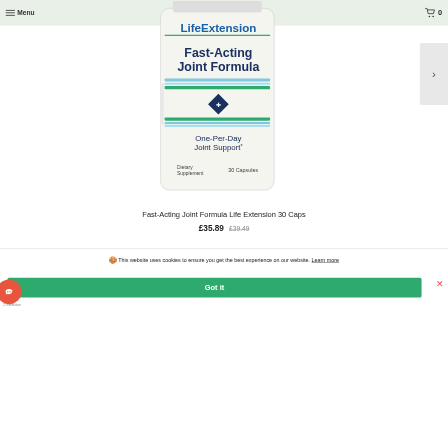Menu | [Logo] | Cart 0
[Figure (photo): Bottle of Life Extension Fast-Acting Joint Formula, One-Per-Day Joint Support, Dietary Supplement, 30 Capsules]
Fast-Acting Joint Formula Life Extension 30 Caps
£35.89  £39.49 (strikethrough)
🍪 This website uses cookies to ensure you get the best experience on our website. Learn more
Got it